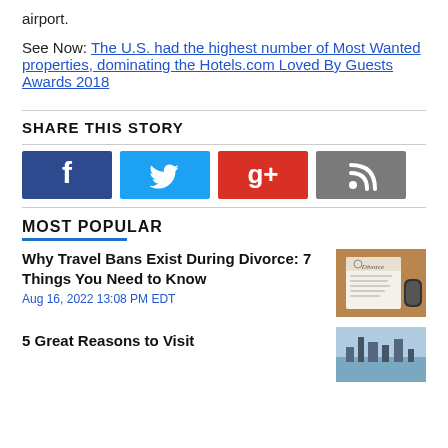airport.
See Now: The U.S. had the highest number of Most Wanted properties, dominating the Hotels.com Loved By Guests Awards 2018
SHARE THIS STORY
[Figure (infographic): Social share buttons: Facebook (dark blue), Twitter (light blue), Google+ (red), RSS (gray)]
MOST POPULAR
Why Travel Bans Exist During Divorce: 7 Things You Need to Know
Aug 16, 2022 13:08 PM EDT
[Figure (photo): Photo of a divorce document on a wooden surface]
5 Great Reasons to Visit
[Figure (photo): Photo of a city skyline]